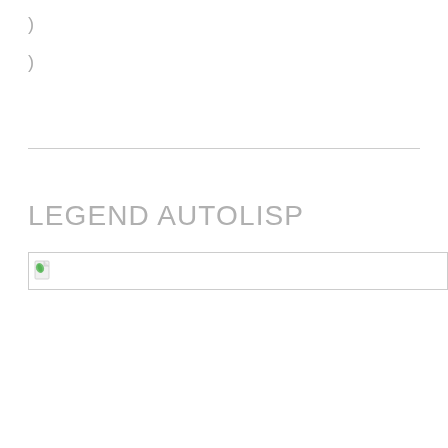)
)
LEGEND AUTOLISP
[Figure (other): Broken image placeholder with small icon showing a document with a green element in the top-left corner]